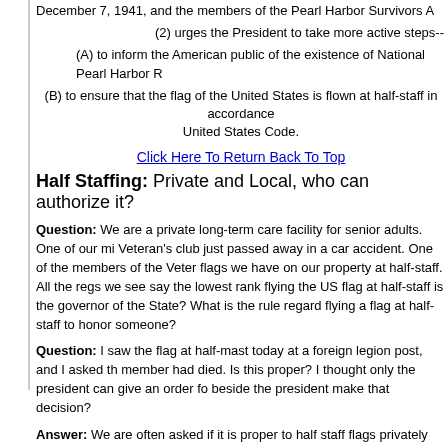December 7, 1941, and the members of the Pearl Harbor Survivors A
(2) urges the President to take more active steps--
(A) to inform the American public of the existence of National Pearl Harbor R
(B) to ensure that the flag of the United States is flown at half-staff in accordance United States Code.
Click Here To Return Back To Top
Half Staffing: Private and Local, who can authorize it?
Question: We are a private long-term care facility for senior adults. One of our mi Veteran's club just passed away in a car accident. One of the members of the Veter flags we have on our property at half-staff. All the regs we see say the lowest rank flying the US flag at half-staff is the governor of the State? What is the rule regard flying a flag at half-staff to honor someone?
Question: I saw the flag at half-mast today at a foreign legion post, and I asked th member had died. Is this proper? I thought only the president can give an order fo beside the president make that decision?
Answer: We are often asked if it is proper to half staff flags privately for family m members of an organization. This is among the toughest questions that arise. Rega staffing and when, The Flag Code does spell out many specifics. But it does say T